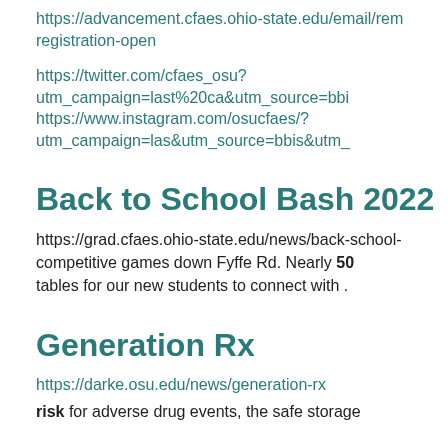https://advancement.cfaes.ohio-state.edu/email/remo-registration-open
https://twitter.com/cfaes_osu?
utm_campaign=last%20ca&utm_source=bbi
https://www.instagram.com/osucfaes/?
utm_campaign=las&utm_source=bbis&utm_
Back to School Bash 2022
https://grad.cfaes.ohio-state.edu/news/back-school-
competitive games down Fyffe Rd. Nearly 50
tables for our new students to connect with .
Generation Rx
https://darke.osu.edu/news/generation-rx
risk for adverse drug events, the safe storage